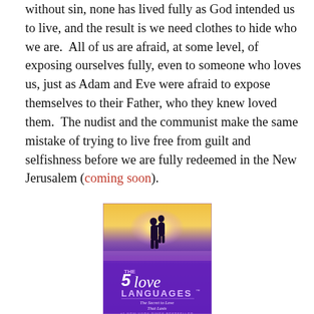without sin, none has lived fully as God intended us to live, and the result is we need clothes to hide who we are.  All of us are afraid, at some level, of exposing ourselves fully, even to someone who loves us, just as Adam and Eve were afraid to expose themselves to their Father, who they knew loved them.  The nudist and the communist make the same mistake of trying to live free from guilt and selfishness before we are fully redeemed in the New Jerusalem (coming soon).
[Figure (photo): Book cover of 'The 5 Love Languages: The Secret to Love That Lasts' by Gary Chapman. Purple background with silhouette of couple embracing against a bright sunlit sky. #1 New York Times Bestseller.]